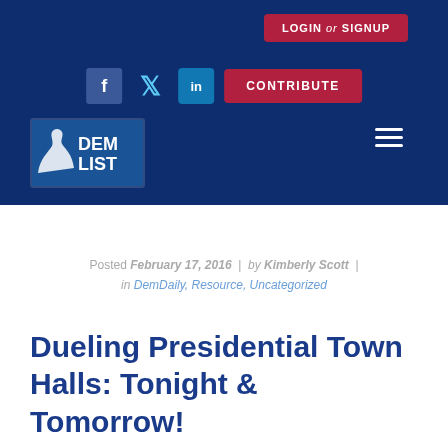[Figure (screenshot): Website header with dark navy blue background containing LOGIN or SIGNUP button, social media icons (Facebook, Twitter, LinkedIn), CONTRIBUTE button, DEM LIST logo with donkey icon, and hamburger menu icon]
Posted February 17, 2016 | by Kimberly Scott | in DemDaily, Resource, Uncategorized
Dueling Presidential Town Halls: Tonight & Tomorrow!